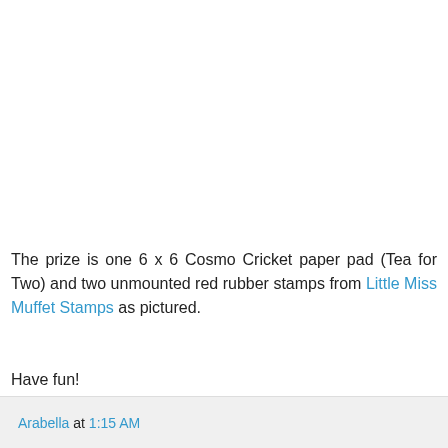The prize is one 6 x 6 Cosmo Cricket paper pad (Tea for Two) and two unmounted red rubber stamps from Little Miss Muffet Stamps as pictured.
Have fun!
Arabella
Arabella at 1:15 AM